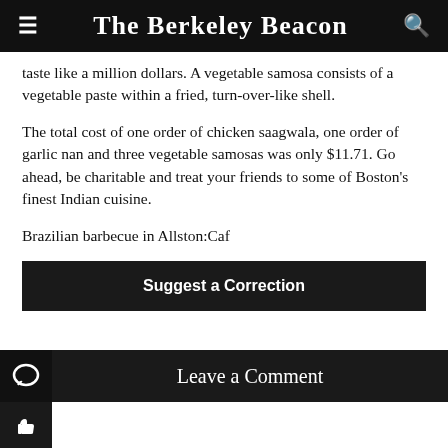The Berkeley Beacon
taste like a million dollars. A vegetable samosa consists of a vegetable paste within a fried, turn-over-like shell.
The total cost of one order of chicken saagwala, one order of garlic nan and three vegetable samosas was only $11.71. Go ahead, be charitable and treat your friends to some of Boston's finest Indian cuisine.
Brazilian barbecue in Allston:Caf
Suggest a Correction
Leave a Comment